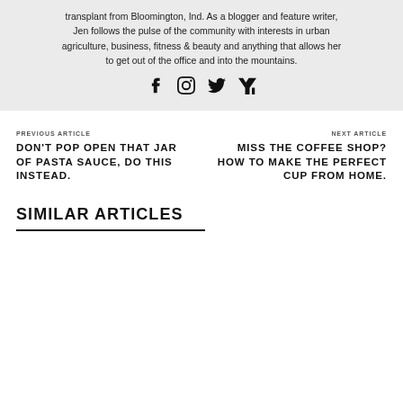transplant from Bloomington, Ind. As a blogger and feature writer, Jen follows the pulse of the community with interests in urban agriculture, business, fitness & beauty and anything that allows her to get out of the office and into the mountains.
[Figure (illustration): Social media icons: Facebook, Instagram, Twitter, Yahoo]
PREVIOUS ARTICLE
DON'T POP OPEN THAT JAR OF PASTA SAUCE, DO THIS INSTEAD.
NEXT ARTICLE
MISS THE COFFEE SHOP? HOW TO MAKE THE PERFECT CUP FROM HOME.
SIMILAR ARTICLES